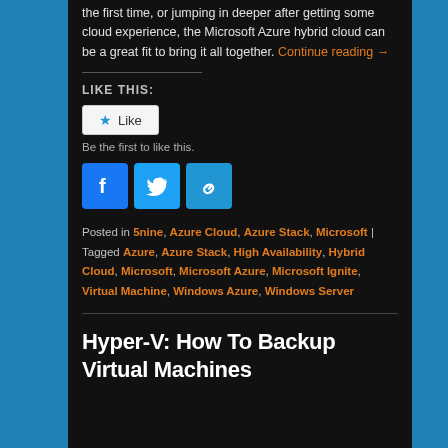the first time, or jumping in deeper after getting some cloud experience, the Microsoft Azure hybrid cloud can be a great fit to bring it all together. Continue reading →
LIKE THIS:
Like
Be the first to like this.
[Figure (infographic): Social sharing icons: Facebook, Twitter, and a link/chain icon, each in a blue square button]
Posted in 5nine, Azure Cloud, Azure Stack, Microsoft | Tagged Azure, Azure Stack, High Availability, Hybrid Cloud, Microsoft, Microsoft Azure, Microsoft Ignite, Virtual Machine, Windows Azure, Windows Server
Hyper-V: How To Backup Virtual Machines